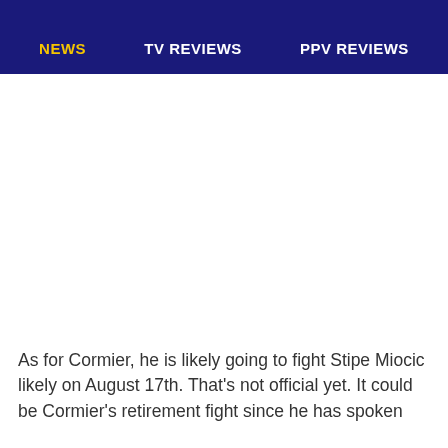NEWS   TV REVIEWS   PPV REVIEWS
As for Cormier, he is likely going to fight Stipe Miocic likely on August 17th. That's not official yet. It could be Cormier's retirement fight since he has spoken